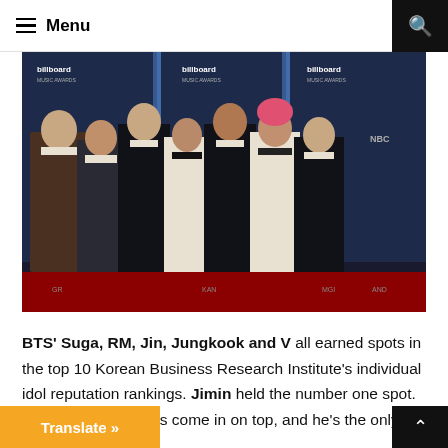☰ Menu
[Figure (photo): BTS group photo at Billboard Music Awards red carpet. Seven male K-pop artists dressed in black and white formal attire standing in front of Billboard Music Awards backdrops with NBC logos. One member has pink/red hair.]
BTS' Suga, RM, Jin, Jungkook and V all earned spots in the top 10 Korean Business Research Institute's individual idol reputation rankings. Jimin held the number one spot. It's the 17th time he's come in on top, and he's the only male idol to [achieve] that achievement. Also, the choreography
Translate »
^